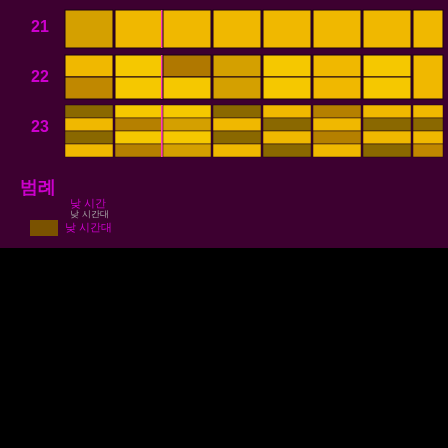[Figure (other): Heatmap grid with rows labeled 21, 22, 23 and colored cells in yellow, gold, dark gold and orange tones on dark purple background]
범례
낮 시간
낮 시간대
저녁 시간
저녁 시간
밤
밤 시간
The latest comments about EvayDavid 's private shows
[Figure (bar-chart): Rating distribution]
4.00
54건의 평가